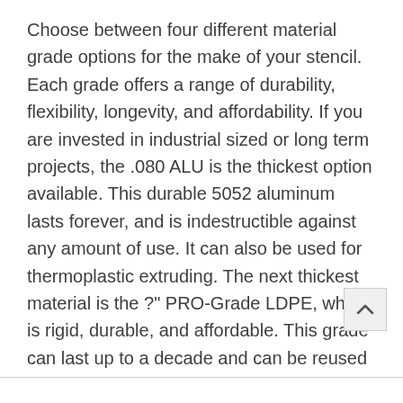Choose between four different material grade options for the make of your stencil. Each grade offers a range of durability, flexibility, longevity, and affordability. If you are invested in industrial sized or long term projects, the .080 ALU is the thickest option available. This durable 5052 aluminum lasts forever, and is indestructible against any amount of use. It can also be used for thermoplastic extruding. The next thickest material is the ?" PRO-Grade LDPE, which is rigid, durable, and affordable. This grade can last up to a decade and can be reused thousands of times before ever showing any signs of wear or tear. The 1/16" LDPE is the counterpart to the PRO-Grade, but with half the thickness. This more flexible material is good for custom or infrequent uses. The thinnest grade available is the .030" HIPS, a flexible PVC that lays flat for single or custom use.